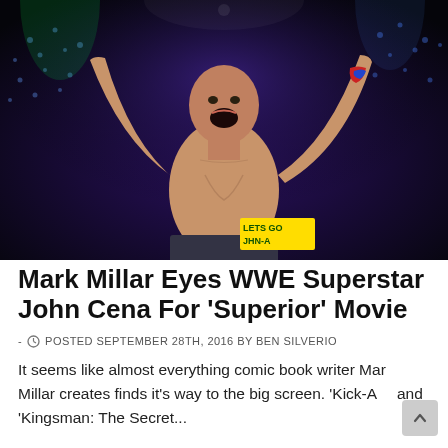[Figure (photo): John Cena, WWE Superstar, shirtless with arms raised in celebration in front of a cheering crowd. He wears red and blue wristbands. A sign in the crowd reads 'LETS GO JHN-A'.]
Mark Millar Eyes WWE Superstar John Cena For 'Superior' Movie
- POSTED SEPTEMBER 28TH, 2016 BY BEN SILVERIO
It seems like almost everything comic book writer Mark Millar creates finds it's way to the big screen. 'Kick-As and 'Kingsman: The Secret...